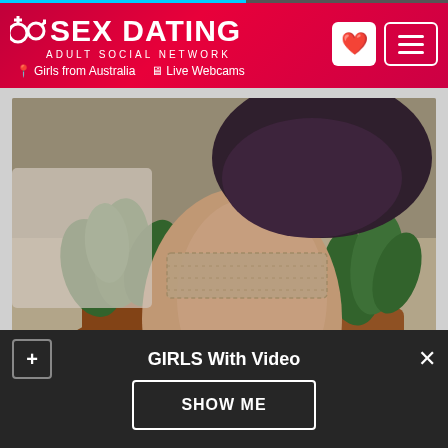[Figure (screenshot): Sex Dating adult social network website header with logo, Girls from Australia and Live Webcams navigation links, heart and menu buttons]
[Figure (photo): Close-up photo of a person's leg wearing lace stocking top with potted plants in background]
About Me
Reviews (0)
GIRLS With Video
SHOW ME